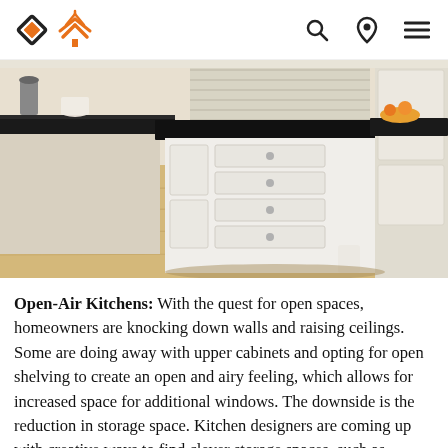[Logo: diamond icon and tree icon] [search icon] [location icon] [menu icon]
[Figure (photo): Interior kitchen photo showing a large white kitchen island with black granite countertop, multiple drawers with silver hardware, white cabinetry, hardwood floors, and kitchen items visible in background.]
Open-Air Kitchens: With the quest for open spaces, homeowners are knocking down walls and raising ceilings. Some are doing away with upper cabinets and opting for open shelving to create an open and airy feeling, which allows for increased space for additional windows. The downside is the reduction in storage space. Kitchen designers are coming up with creative ways to find clever storage spaces, such as